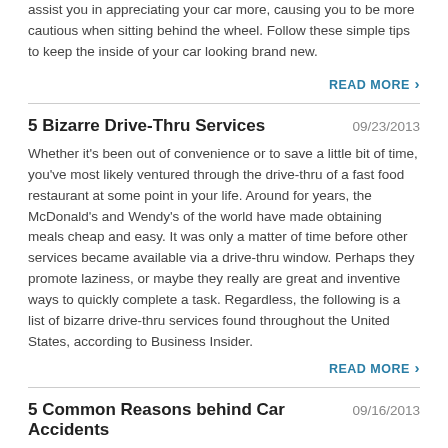assist you in appreciating your car more, causing you to be more cautious when sitting behind the wheel. Follow these simple tips to keep the inside of your car looking brand new.
READ MORE ›
5 Bizarre Drive-Thru Services
09/23/2013
Whether it's been out of convenience or to save a little bit of time, you've most likely ventured through the drive-thru of a fast food restaurant at some point in your life. Around for years, the McDonald's and Wendy's of the world have made obtaining meals cheap and easy. It was only a matter of time before other services became available via a drive-thru window. Perhaps they promote laziness, or maybe they really are great and inventive ways to quickly complete a task. Regardless, the following is a list of bizarre drive-thru services found throughout the United States, according to Business Insider.
READ MORE ›
5 Common Reasons behind Car Accidents
09/16/2013
According to the National Highway Traffic Safety Administration, vehicular accidents take place every minute of every day. In total, about 5.25 million car accidents occur every year. A range of factors can lead to a wreck, such as drinking and driving or texting while driving. See below for a list (in no particular order) of five common reasons behind car accidents.